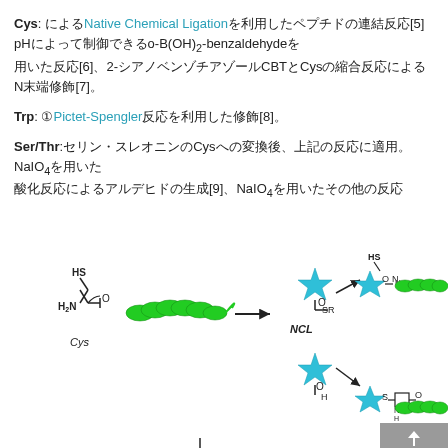Cys: によるNative Chemical Ligationを利用したペプチドの連結反応[5]、pHによって制御できるo-B(OH)2-benzaldehydeを用いた反応[6]、2-シアノベンゾチアゾールCBTとCysの縮合反応によるN末端修飾[7]。
Trp: ①Pictet-Spengler反応を利用した修飾[8]。
Ser/Thr:セリン・スレオニンのCysへの変換後、上記の反応に適用。NaIO4を用いた酸化反応によるアルデヒドの生成[9]、NaIO4を用いたその他の反応。
[Figure (schematic): Chemical ligation diagram showing Cys amino acid with HS and H2N groups connected to helical peptide, reacting via NCL pathway with thioester (SR) or aldehyde (H) reagents (shown as cyan stars) to produce ligated peptides with helical protein segments.]